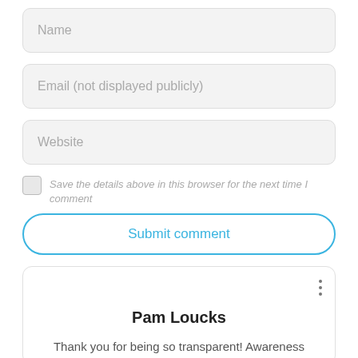Name
Email (not displayed publicly)
Website
Save the details above in this browser for the next time I comment
Submit comment
Pam Loucks
Thank you for being so transparent! Awareness